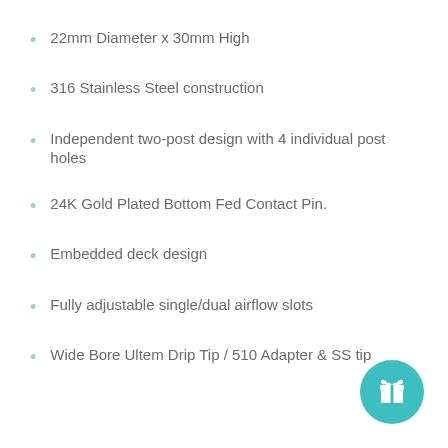22mm Diameter x 30mm High
316 Stainless Steel construction
Independent two-post design with 4 individual post holes
24K Gold Plated Bottom Fed Contact Pin.
Embedded deck design
Fully adjustable single/dual airflow slots
Wide Bore Ultem Drip Tip / 510 Adapter & SS tip